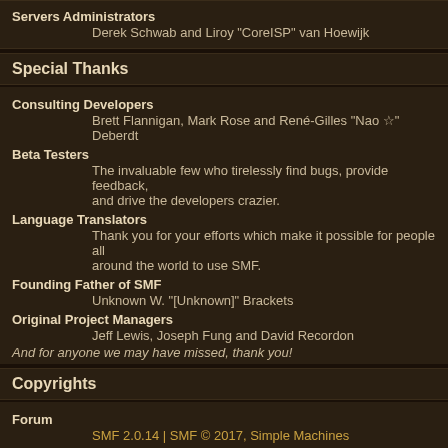Servers Administrators
        Derek Schwab and Liroy "CoreISP" van Hoewijk
Special Thanks
Consulting Developers
        Brett Flannigan, Mark Rose and René-Gilles "Nao ☆" Deberdt
Beta Testers
        The invaluable few who tirelessly find bugs, provide feedback, and drive the developers crazier.
Language Translators
        Thank you for your efforts which make it possible for people all around the world to use SMF.
Founding Father of SMF
        Unknown W. "[Unknown]" Brackets
Original Project Managers
        Jeff Lewis, Joseph Fung and David Recordon
And for anyone we may have missed, thank you!
Copyrights
Forum
        SMF 2.0.14 | SMF © 2017, Simple Machines
SMF 2.0.14 | SMF © 2017, Simple Machines
ChaosForgeForums based on BlackRain V3 by Crip | XHTML | RSS | WAP2